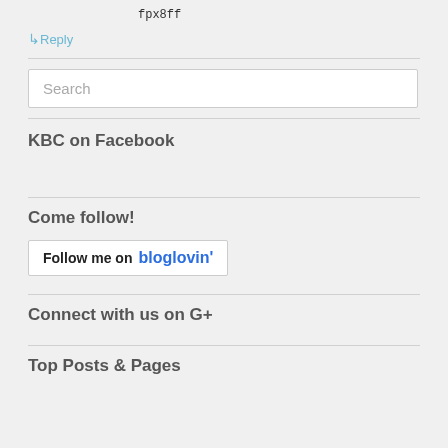fpx8ff
↳ Reply
Search
KBC on Facebook
Come follow!
[Figure (other): Follow me on bloglovin' button]
Connect with us on G+
Top Posts & Pages